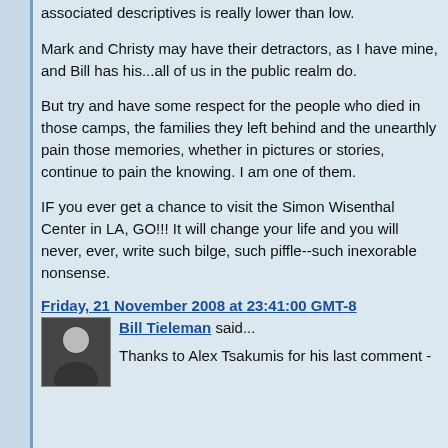associated descriptives is really lower than low.
Mark and Christy may have their detractors, as I have mine, and Bill has his...all of us in the public realm do.
But try and have some respect for the people who died in those camps, the families they left behind and the unearthly pain those memories, whether in pictures or stories, continue to pain the knowing. I am one of them.
IF you ever get a chance to visit the Simon Wisenthal Center in LA, GO!!! It will change your life and you will never, ever, write such bilge, such piffle--such inexorable nonsense.
Friday, 21 November 2008 at 23:41:00 GMT-8 Bill Tieleman said...
Thanks to Alex Tsakumis for his last comment -